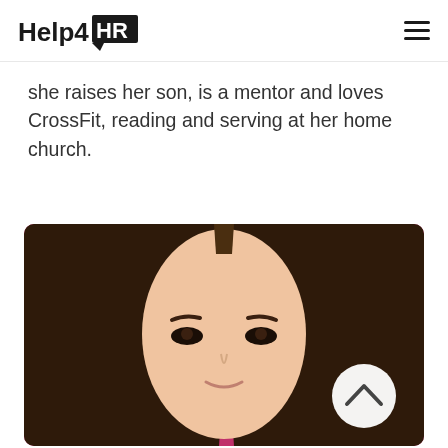Help4HR
she raises her son, is a mentor and loves CrossFit, reading and serving at her home church.
[Figure (photo): Headshot photo of a woman with long straight brown hair against a magenta/hot pink background, with a white circular scroll-to-top button overlay in the lower right of the image.]